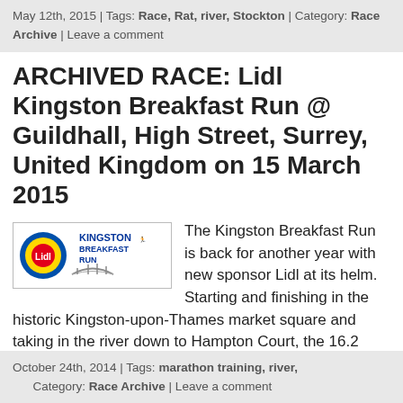May 12th, 2015 | Tags: Race, Rat, river, Stockton | Category: Race Archive | Leave a comment
ARCHIVED RACE: Lidl Kingston Breakfast Run @ Guildhall, High Street, Surrey, United Kingdom on 15 March 2015
[Figure (logo): Lidl Kingston Breakfast Run logo with Lidl branding and bridge graphic]
The Kingston Breakfast Run is back for another year with new sponsor Lidl at its helm. Starting and finishing in the historic Kingston-upon-Thames market square and taking in the river down to Hampton Court, the 16.2 mile route is a perfect marathon training race and the 8.2 mile race is a perfect step up from […]
October 24th, 2014 | Tags: marathon training, river, … Category: Race Archive | Leave a comment